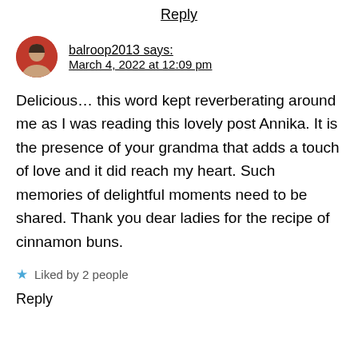Reply
balroop2013 says:
March 4, 2022 at 12:09 pm
Delicious… this word kept reverberating around me as I was reading this lovely post Annika. It is the presence of your grandma that adds a touch of love and it did reach my heart. Such memories of delightful moments need to be shared. Thank you dear ladies for the recipe of cinnamon buns.
Liked by 2 people
Reply